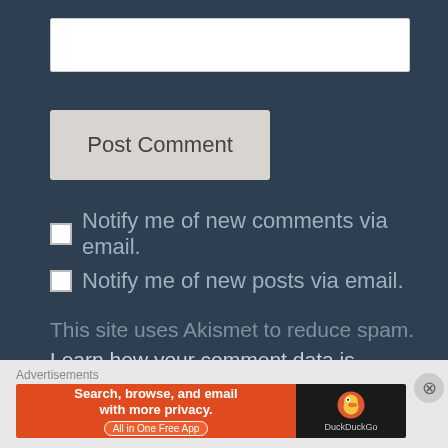[Figure (screenshot): Text input box for comment entry, white background on dark slate blue background]
[Figure (screenshot): Post Comment button, light gray rounded rectangle]
Notify me of new comments via email.
Notify me of new posts via email.
This site uses Akismet to reduce spam. Learn how your comment data is processed.
Advertisements
[Figure (screenshot): DuckDuckGo advertisement banner: Search, browse, and email with more privacy. All in One Free App. Orange left section with DuckDuckGo duck logo on black right section.]